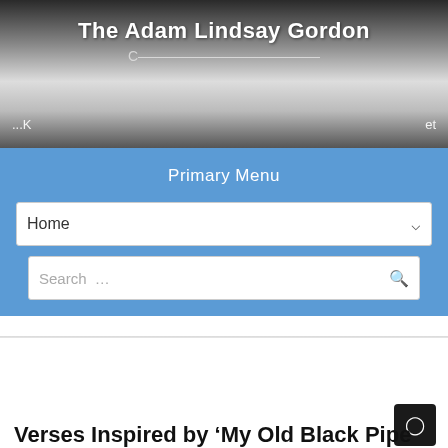The Adam Lindsay Gordon
...K  et
Primary Menu
Home
Search ...
Verses Inspired by ‘My Old Black Pipe’